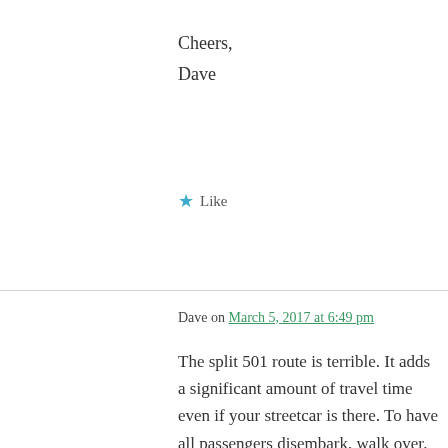Cheers,
Dave
★ Like
Dave on March 5, 2017 at 6:49 pm
The split 501 route is terrible. It adds a significant amount of travel time even if your streetcar is there. To have all passengers disembark, walk over, then board takes a long time. Last time I did it it added 7 mins. to the journey and that was with the next streetcar there and waiting.

The City of Toronto's Transportation Planning Department's 2012 Southeast Etobicoke Travel